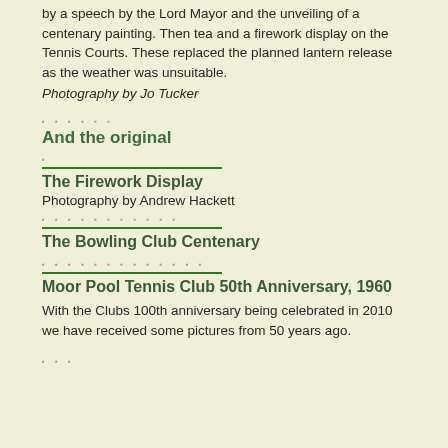by a speech by the Lord Mayor and the unveiling of a centenary painting. Then tea and a firework display on the Tennis Courts. These replaced the planned lantern release as the weather was unsuitable.
Photography by Jo Tucker
And the original
The Firework Display
Photography by Andrew Hackett
The Bowling Club Centenary
Moor Pool Tennis Club 50th Anniversary, 1960
With the Clubs 100th anniversary being celebrated in 2010 we have received some pictures from 50 years ago.